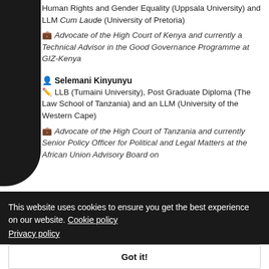Human Rights and Gender Equality (Uppsala University) and LLM Cum Laude (University of Pretoria)
Advocate of the High Court of Kenya and currently a Technical Advisor in the Good Governance Programme at GIZ-Kenya
Selemani Kinyunyu
LLB (Tumaini University), Post Graduate Diploma (The Law School of Tanzania) and an LLM (University of the Western Cape)
Advocate of the High Court of Tanzania and currently Senior Policy Officer for Political and Legal Matters at the African Union Advisory Board on
This website uses cookies to ensure you get the best experience on our website. Cookie policy Privacy policy
Got it!